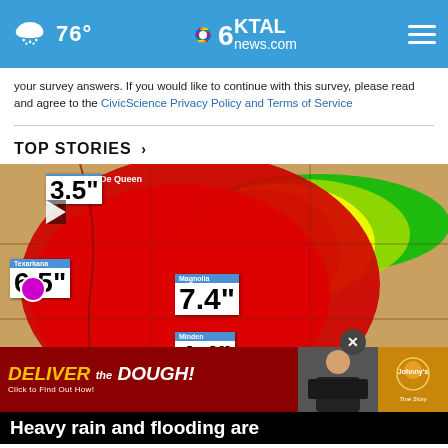76° | KTAL NBC 6 news.com
your survey answers. If you would like to continue with this survey, please read and agree to the CivicScience Privacy Policy and Terms of Service
TOP STORIES ›
[Figure (screenshot): Weather radar map showing rainfall totals across the Ark-La-Tex region: De Queen 3.5", Texarkana 6.5", Magnolia 7.4", Minden 4.4", Shreveport area visible. Color-coded radar overlay from green/yellow to red showing heavy rainfall. Advertisement overlay: 'DELIVER the DOUGH! Click to Find Out How! Johnny's']
Heavy rain and flooding are